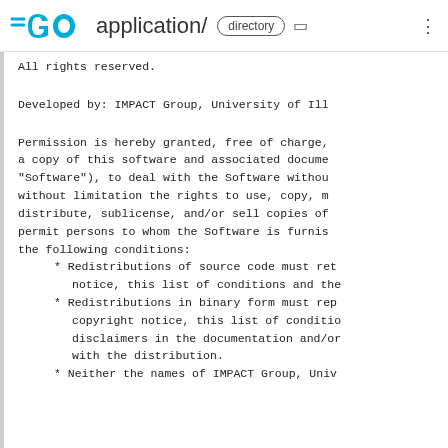GO application/ directory
All rights reserved.
Developed by: IMPACT Group, University of Ill
Permission is hereby granted, free of charge, a copy of this software and associated docume "Software"), to deal with the Software withou without limitation the rights to use, copy, m distribute, sublicense, and/or sell copies of permit persons to whom the Software is furnis the following conditions:
* Redistributions of source code must ret notice, this list of conditions and the
* Redistributions in binary form must rep copyright notice, this list of conditio disclaimers in the documentation and/or with the distribution.
* Neither the names of IMPACT Group, Univ